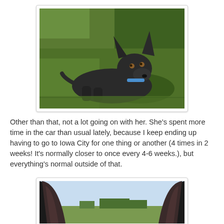[Figure (photo): A black dog with large ears and a blue collar lying on green grass, looking at the camera]
Other than that, not a lot going on with her. She's spent more time in the car than usual lately, because I keep ending up having to go to Iowa City for one thing or another (4 times in 2 weeks! It's normally closer to once every 4-6 weeks.), but everything's normal outside of that.
[Figure (photo): Close-up view of two large black dog ears with a rural landscape in the background]